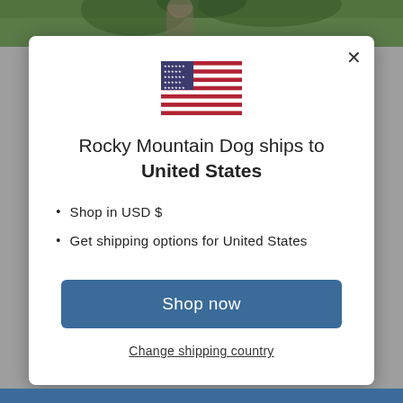[Figure (screenshot): Top portion of a website showing a photo of a person outdoors with trees in background, partially visible behind modal]
[Figure (illustration): US flag emoji/icon centered in the modal dialog]
Rocky Mountain Dog ships to United States
Shop in USD $
Get shipping options for United States
Shop now
Change shipping country